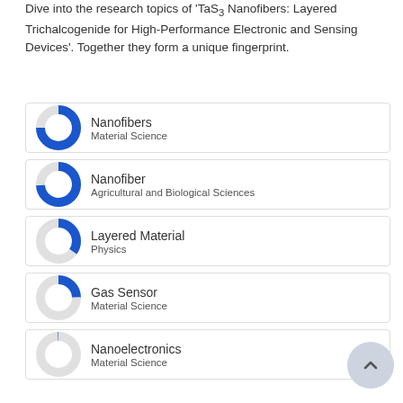Dive into the research topics of 'TaS₃ Nanofibers: Layered Trichalcogenide for High-Performance Electronic and Sensing Devices'. Together they form a unique fingerprint.
[Figure (donut-chart): Nearly full blue donut chart (~100%)]
[Figure (donut-chart): Nearly full blue donut chart (~100%)]
[Figure (donut-chart): Partial blue donut chart (~60%)]
[Figure (donut-chart): Partial blue donut chart (~50%)]
[Figure (donut-chart): Small blue donut chart (~25%)]